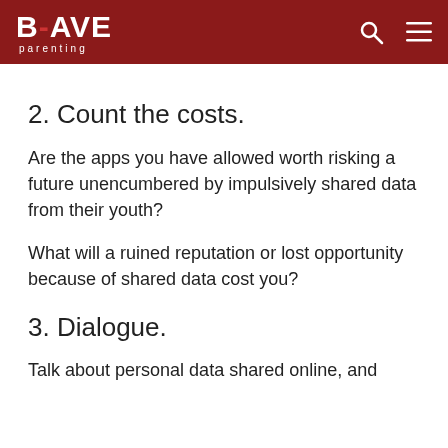BRAVE parenting
2. Count the costs.
Are the apps you have allowed worth risking a future unencumbered by impulsively shared data from their youth?
What will a ruined reputation or lost opportunity because of shared data cost you?
3. Dialogue.
Talk about personal data shared online, and